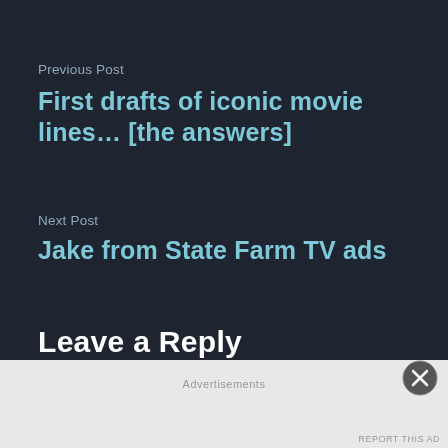Previous Post
First drafts of iconic movie lines… [the answers]
Next Post
Jake from State Farm TV ads
Leave a Reply
Advertisements
REPORT THIS AD